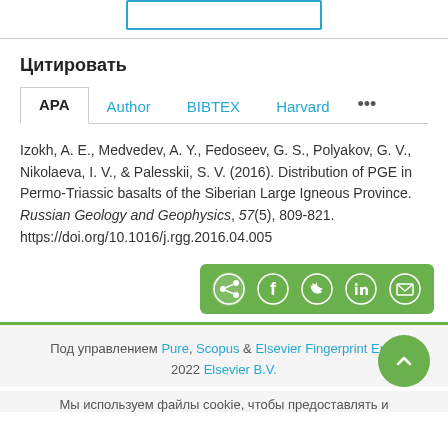[Figure (screenshot): Top button area with a teal/cyan bordered button (partially visible at top)]
Цитировать
APA | Author | BIBTEX | Harvard | ...
Izokh, A. E., Medvedev, A. Y., Fedoseev, G. S., Polyakov, G. V., Nikolaeva, I. V., & Palesskii, S. V. (2016). Distribution of PGE in Permo-Triassic basalts of the Siberian Large Igneous Province. Russian Geology and Geophysics, 57(5), 809-821. https://doi.org/10.1016/j.rgg.2016.04.005
[Figure (infographic): Green share bar with social media icons: share, Facebook, Twitter, LinkedIn, email]
Под управлением Pure, Scopus & Elsevier Fingerprint Engine — 2022 Elsevier B.V.
Мы используем файлы cookie, чтобы предоставлять и